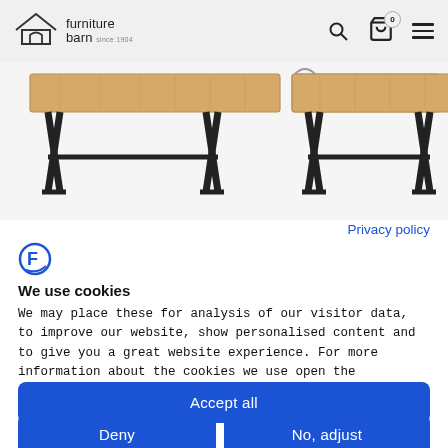furniture barn since 1904
[Figure (photo): Two wooden dining tables with black X-shaped metal legs, shown side by side on a light grey background.]
Privacy policy
[Figure (logo): Cookiebot logo icon - stylized F with circular arc]
We use cookies
We may place these for analysis of our visitor data, to improve our website, show personalised content and to give you a great website experience. For more information about the cookies we use open the settings.
Accept all
Deny
No, adjust